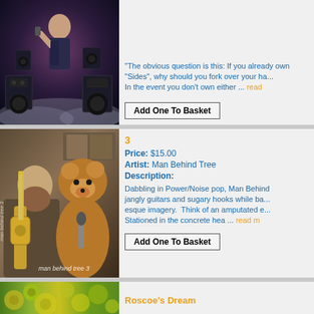[Figure (photo): Album cover showing person with speakers/audio equipment in dark moody setting]
The obvious question is this: If you already own "Sides", why should you fork over your ha... In the event you don't own either ... read more
Add One To Basket
[Figure (photo): Album cover 'man behind tree 3' showing bearded man with guitar and person in bear costume]
3
Price: $15.00
Artist: Man Behind Tree
Description:
Dabbling in Power/Noise pop, Man Behind Tree's jangly guitars and sugary hooks while ba... esque imagery. Think of an amputated e... Stationed in the concrete hea ... read more
Add One To Basket
[Figure (photo): Partial album cover with floral/leaf green-yellow pattern]
Roscoe's Dream